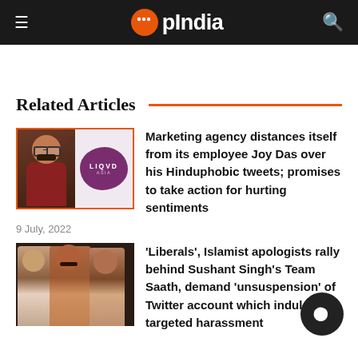OpIndia
Related Articles
Marketing agency distances itself from its employee Joy Das over his Hinduphobic tweets; promises to take action for hurting sentiments
9 July, 2022
'Liberals', Islamist apologists rally behind Sushant Singh's Team Saath, demand 'unsuspension' of Twitter account which indulges in targeted harassment